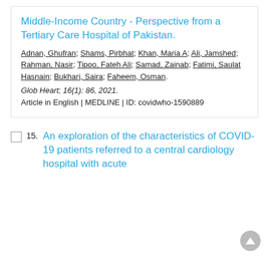Middle-Income Country - Perspective from a Tertiary Care Hospital of Pakistan.
Adnan, Ghufran; Shams, Pirbhat; Khan, Maria A; Ali, Jamshed; Rahman, Nasir; Tipoo, Fateh Ali; Samad, Zainab; Fatimi, Saulat Hasnain; Bukhari, Saira; Faheem, Osman.
Glob Heart; 16(1): 86, 2021.
Article in English | MEDLINE | ID: covidwho-1590889
15. An exploration of the characteristics of COVID-19 patients referred to a central cardiology hospital with acute